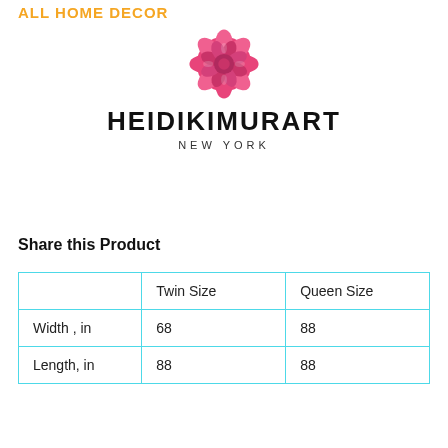ALL HOME DECOR
[Figure (logo): Heidikimurart New York logo with pink rose illustration above the brand name in bold capitals]
Share this Product
|  | Twin Size | Queen Size |
| --- | --- | --- |
| Width , in | 68 | 88 |
| Length, in | 88 | 88 |